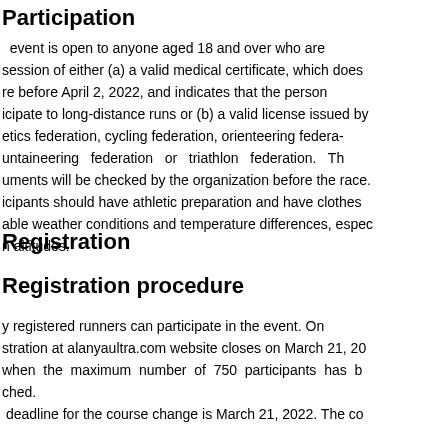Participation
event is open to anyone aged 18 and over who are session of either (a) a valid medical certificate, which does re before April 2, 2022, and indicates that the person icipate to long-distance runs or (b) a valid license issued by etics federation, cycling federation, orienteering federation untaineering federation or triathlon federation. The uments will be checked by the organization before the race. icipants should have athletic preparation and have clothes able weather conditions and temperature differences, especially n altitudes.
Registration
Registration procedure
y registered runners can participate in the event. On stration at alanyaultra.com website closes on March 21, 2022 when the maximum number of 750 participants has been ched. deadline for the course change is March 21, 2022. The co